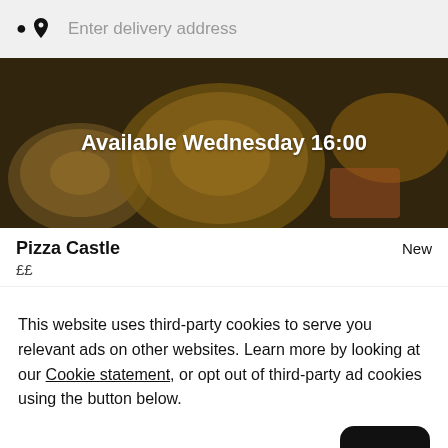Enter delivery address
[Figure (photo): Dark-toned overhead food photo showing pizza, pasta bowl, and sides with overlay text 'Available Wednesday 16:00']
Pizza Castle
New
££
This website uses third-party cookies to serve you relevant ads on other websites. Learn more by looking at our Cookie statement, or opt out of third-party ad cookies using the button below.
Opt out
OK